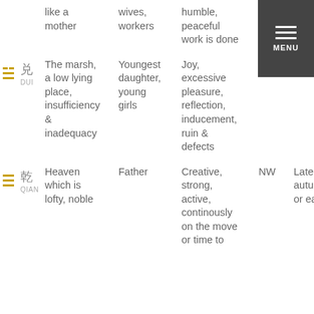| Trigram | Nature/Place | Family | Qualities | Direction | Season |
| --- | --- | --- | --- | --- | --- |
| (partial top row) | like a mother | wives, workers | humble, peaceful work is done | (autum...) | (seaso...) |
| 兑 DUI | The marsh, a low lying place, insufficiency & inadequacy | Youngest daughter, young girls | Joy, excessive pleasure, reflection, inducement, ruin & defects | West | Autun |
| 乾 QIAN | Heaven which is lofty, noble | Father | Creative, strong, active, continously on the move or time to | NW | Late autum or ear |
[Figure (screenshot): Navigation menu overlay in top-right corner with three horizontal white lines (hamburger icon) and MENU label on dark grey background]